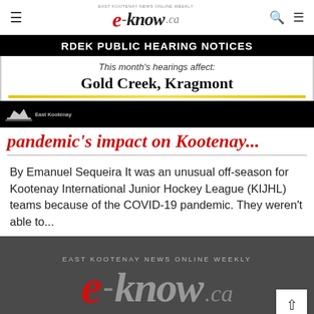e-know.ca — East Kootenay News Online Weekly
[Figure (infographic): RDEK Public Hearing Notices banner ad. Black header bar with white bold text: RDEK PUBLIC HEARING NOTICES. White content area: 'This month's hearings affect:' in italic, then bold large text 'Gold Creek, Kragmont'. Yellow gradient line. Black footer with East Kootenay mountain logo.]
pandemic's impact on Kootenay...
By Emanuel Sequeira It was an unusual off-season for Kootenay International Junior Hockey League (KIJHL) teams because of the COVID-19 pandemic. They weren't able to...
[Figure (logo): e-know.ca footer logo on dark grey background. Top text: EAST KOOTENAY NEWS ONLINE WEEKLY. Large logo: red italic 'e' followed by '-know' in dark grey italic and '.ca' in light grey.]